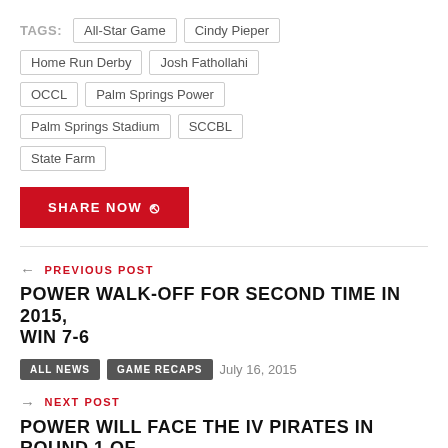TAGS: All-Star Game  Cindy Pieper  Home Run Derby  Josh Fathollahi  OCCL  Palm Springs Power  Palm Springs Stadium  SCCBL  State Farm
SHARE NOW
← PREVIOUS POST
POWER WALK-OFF FOR SECOND TIME IN 2015, WIN 7-6
ALL NEWS  GAME RECAPS  July 16, 2015
→ NEXT POST
POWER WILL FACE THE IV PIRATES IN ROUND 1 OF